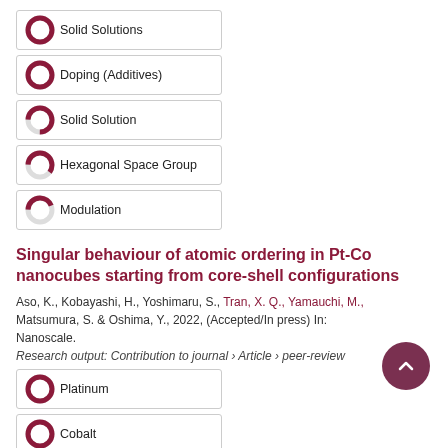100% Solid Solutions
100% Doping (Additives)
75% Solid Solution
60% Hexagonal Space Group
44% Modulation
Singular behaviour of atomic ordering in Pt-Co nanocubes starting from core-shell configurations
Aso, K., Kobayashi, H., Yoshimaru, S., Tran, X. Q., Yamauchi, M., Matsumura, S. & Oshima, Y., 2022, (Accepted/In press) In: Nanoscale.
Research output: Contribution to journal › Article › peer-review
100% Platinum
100% Cobalt
76% Nanoparticles
62% Surface Segregation
68% Platinum Alloys
Highly Stable and Active Solid-Solution-Alloy Three-Way Catalyst by Utilizing Configurational-Entropy